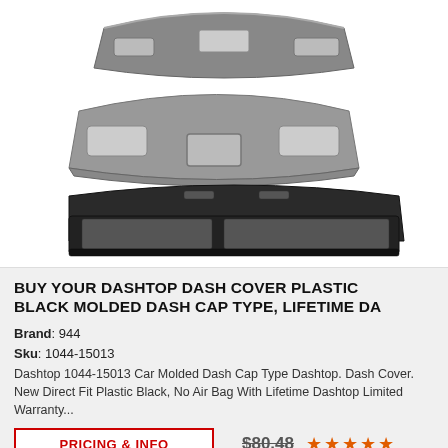[Figure (photo): Three views of a dashtop dash cover: top view (gray, curved with cutouts), middle view (underside, gray with central compartment), and bottom view (black molded dash cap piece with rectangular cutout).]
BUY YOUR DASHTOP DASH COVER PLASTIC BLACK MOLDED DASH CAP TYPE, LIFETIME DA
Brand: 944
Sku: 1044-15013
Dashtop 1044-15013 Car Molded Dash Cap Type Dashtop. Dash Cover. New Direct Fit Plastic Black, No Air Bag With Lifetime Dashtop Limited Warranty...
PRICING & INFO
$80.48